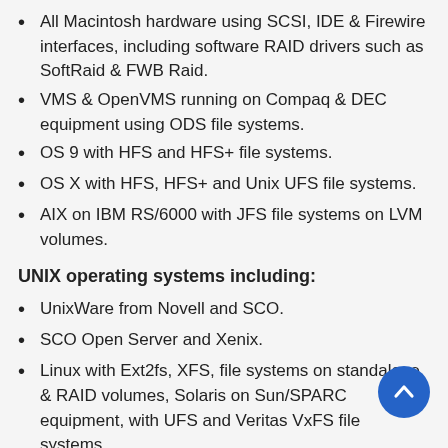All Macintosh hardware using SCSI, IDE & Firewire interfaces, including software RAID drivers such as SoftRaid & FWB Raid.
VMS & OpenVMS running on Compaq & DEC equipment using ODS file systems.
OS 9 with HFS and HFS+ file systems.
OS X with HFS, HFS+ and Unix UFS file systems.
AIX on IBM RS/6000 with JFS file systems on LVM volumes.
UNIX operating systems including:
UnixWare from Novell and SCO.
SCO Open Server and Xenix.
Linux with Ext2fs, XFS, file systems on standalone & RAID volumes, Solaris on Sun/SPARC equipment, with UFS and Veritas VxFS file systems.
Windows 2000 Professional and Server with NTFS, FAT32 or FAT16 file systems using standalone basic